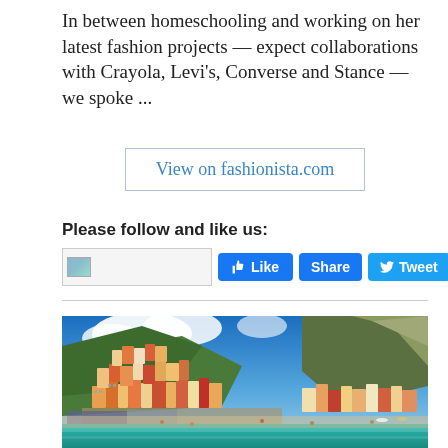In between homeschooling and working on her latest fashion projects — expect collaborations with Crayola, Levi's, Converse and Stance — we spoke ...
View on fashionista.com
Please follow and like us:
[Figure (screenshot): Social media buttons: Facebook Like, Share, Tweet, Save (Pinterest)]
[Figure (photo): Aerial photo of a colorful coastal Mediterranean town (Positano-style) with buildings stacked on a hillside, mountains in the background, and a beach with turquoise water in the foreground.]